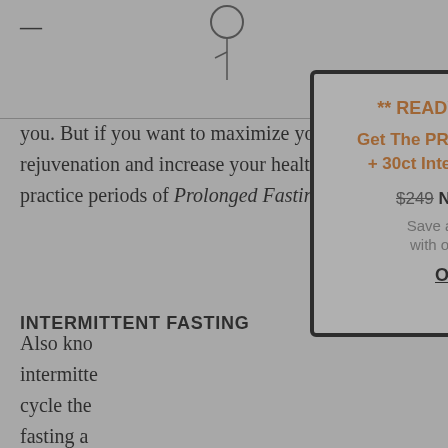— [logo/icon]
you. But if you want to maximize your cellular rejuvenation and increase your healthy years, practice periods of Prolonged Fasting.
INTERMITTENT FASTING
Also kno intermitte cycle the fasting a Notably, i calories o eaten. Ins of that fe consump a day, you blood sugar levels, as well as
[Figure (screenshot): Modal popup advertisement: ** READY. SET. RESTART ** Get The PROLON Fasting Meal Kit + 30ct Intermittent Fasting Bars $249 Now Only $158.95 Save an EXTRA 15% OFF with our code: KALDZAR ORDER NOW! -Learn More-]